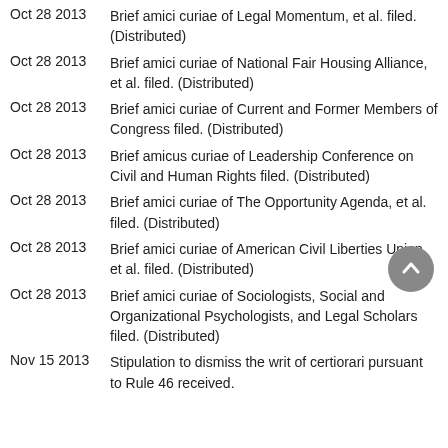Oct 28 2013  Brief amici curiae of Legal Momentum, et al. filed. (Distributed)
Oct 28 2013  Brief amici curiae of National Fair Housing Alliance, et al. filed. (Distributed)
Oct 28 2013  Brief amici curiae of Current and Former Members of Congress filed. (Distributed)
Oct 28 2013  Brief amicus curiae of Leadership Conference on Civil and Human Rights filed. (Distributed)
Oct 28 2013  Brief amici curiae of The Opportunity Agenda, et al. filed. (Distributed)
Oct 28 2013  Brief amici curiae of American Civil Liberties Union, et al. filed. (Distributed)
Oct 28 2013  Brief amici curiae of Sociologists, Social and Organizational Psychologists, and Legal Scholars filed. (Distributed)
Nov 15 2013  Stipulation to dismiss the writ of certiorari pursuant to Rule 46 received.